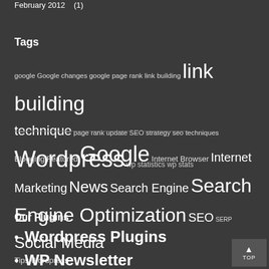February 2012    (1)
Tags
google Google changes google page rank link building link building technique page rank update SEO strategy seo techniques Wordpress wp statistics wp stats
Blogging Featured Google Internet Browser Internet Marketing News Search Engine Search Engine Optimization SEO SERP Social Media Tips Wordpress
Our Plugins
Wordpress Plugins
WP Newsletter